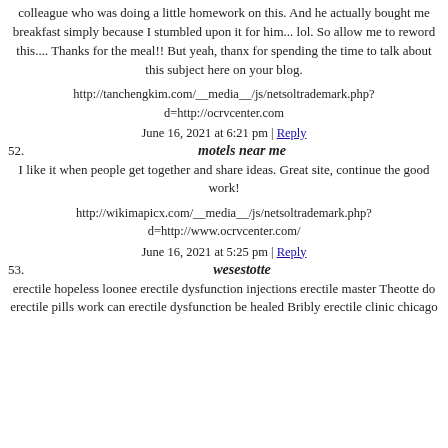colleague who was doing a little homework on this. And he actually bought me breakfast simply because I stumbled upon it for him... lol. So allow me to reword this.... Thanks for the meal!! But yeah, thanx for spending the time to talk about this subject here on your blog.
http://tanchengkim.com/__media__/js/netsoltrademark.php?d=http://ocrvcenter.com
June 16, 2021 at 6:21 pm | Reply
52. motels near me
I like it when people get together and share ideas. Great site, continue the good work!
http://wikimapicx.com/__media__/js/netsoltrademark.php?d=http://www.ocrvcenter.com/
June 16, 2021 at 5:25 pm | Reply
53. wesestotte
erectile hopeless loonee erectile dysfunction injections erectile master Theotte do erectile pills work can erectile dysfunction be healed Bribly erectile clinic chicago